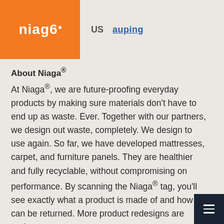niaga · US · auping
About Niaga®
At Niaga®, we are future-proofing everyday products by making sure materials don't have to end up as waste. Ever. Together with our partners, we design out waste, completely. We design to use again. So far, we have developed mattresses, carpet, and furniture panels. They are healthier and fully recyclable, without compromising on performance. By scanning the Niaga® tag, you'll see exactly what a product is made of and how it can be returned. More product redesigns are underway.